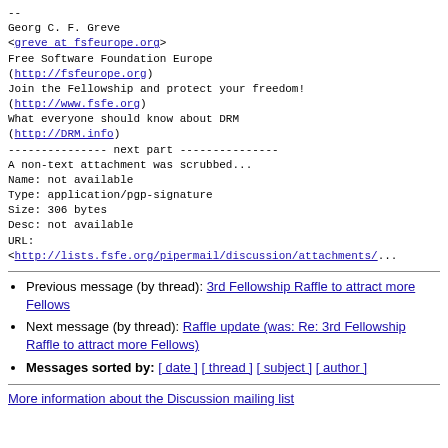--
Georg C. F. Greve
<greve at fsfeurope.org>
Free Software Foundation Europe
(http://fsfeurope.org)
Join the Fellowship and protect your freedom!
(http://www.fsfe.org)
What everyone should know about DRM
(http://DRM.info)
--------------- next part ---------------
A non-text attachment was scrubbed...
Name: not available
Type: application/pgp-signature
Size: 306 bytes
Desc: not available
URL:
<http://lists.fsfe.org/pipermail/discussion/attachments/...
Previous message (by thread): 3rd Fellowship Raffle to attract more Fellows
Next message (by thread): Raffle update (was: Re: 3rd Fellowship Raffle to attract more Fellows)
Messages sorted by: [ date ] [ thread ] [ subject ] [ author ]
More information about the Discussion mailing list